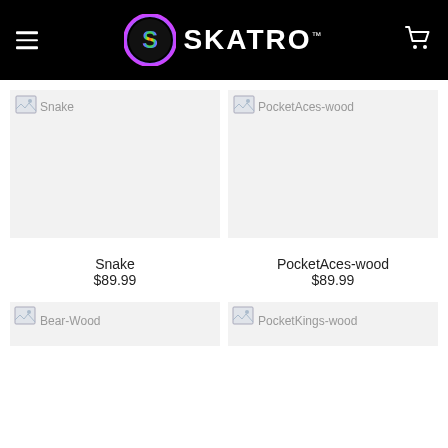SKATRO
[Figure (photo): Product image placeholder for Snake skateboard deck]
Snake
$89.99
[Figure (photo): Product image placeholder for PocketAces-wood skateboard deck]
PocketAces-wood
$89.99
[Figure (photo): Product image placeholder for Bear-Wood skateboard deck (partial)]
Bear-Wood
[Figure (photo): Product image placeholder for PocketKings-wood skateboard deck (partial)]
PocketKings-wood